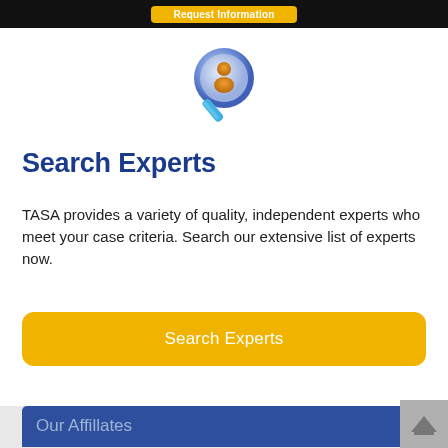Request Information
[Figure (illustration): Blue magnifying glass icon with an orange person figure inside the lens]
Search Experts
TASA provides a variety of quality, independent experts who meet your case criteria. Search our extensive list of experts now.
Search Experts
Our Affillates